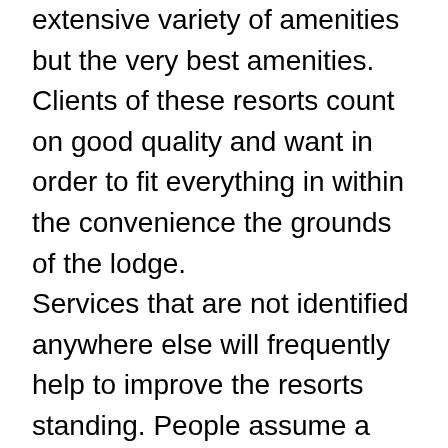extensive variety of amenities but the very best amenities. Clients of these resorts count on good quality and want in order to fit everything in within the convenience the grounds of the lodge. Services that are not identified anywhere else will frequently help to improve the resorts standing. People assume a pool area, pubs, spas, and spas (or&nbspweekend break day spa vacations) but what else does the resort supply. A luxury hotel integrates leading-edge technology with style. They have something for anyone.